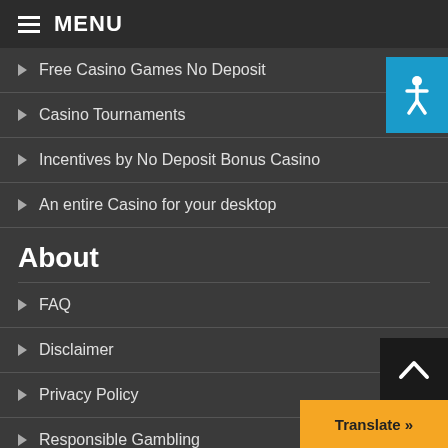≡ MENU
Free Casino Games No Deposit
Casino Tournaments
Incentives by No Deposit Bonus Casino
An entire Casino for your desktop
About
FAQ
Disclaimer
Privacy Policy
Responsible Gambling
[Figure (illustration): Accessibility button with person icon in teal/blue square]
[Figure (illustration): Scroll to top button with caret up arrow in dark square]
[Figure (illustration): Translate button in orange with text 'Translate »']